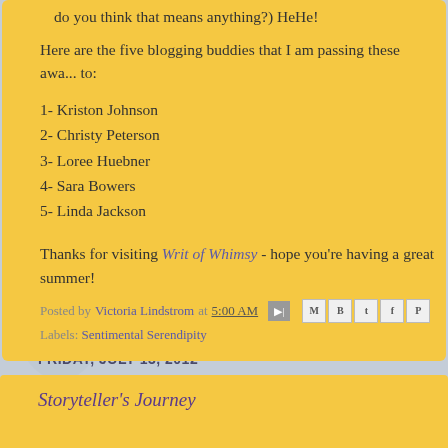do you think that means anything?) HeHe!
Here are the five blogging buddies that I am passing these awards to:
1- Kriston Johnson
2- Christy Peterson
3- Loree Huebner
4- Sara Bowers
5- Linda Jackson
Thanks for visiting Writ of Whimsy - hope you're having a great summer!
Posted by Victoria Lindstrom at 5:00 AM
Labels: Sentimental Serendipity
FRIDAY, JULY 13, 2012
Storyteller's Journey